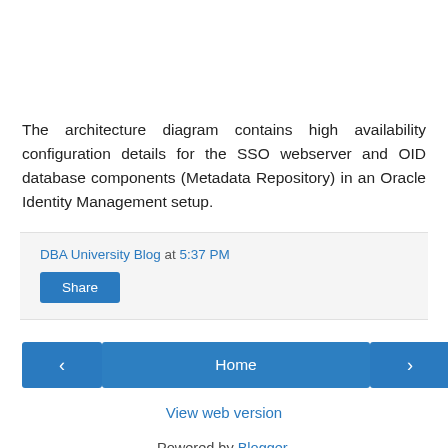The architecture diagram contains high availability configuration details for the SSO webserver and OID database components (Metadata Repository) in an Oracle Identity Management setup.
DBA University Blog at 5:37 PM
Share
‹
Home
›
View web version
Powered by Blogger.